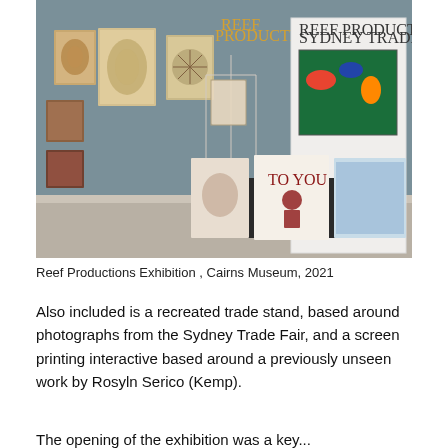[Figure (photo): Interior of the Reef Productions Exhibition at Cairns Museum, 2021. The gallery shows artworks hung on a teal/grey wall, a clothing rack with Hawaiian shirts, display panels labelled 'Reef Productions', and a central display table draped with printed textiles including one reading 'TO YOU'.]
Reef Productions Exhibition , Cairns Museum, 2021
Also included is a recreated trade stand, based around photographs from the Sydney Trade Fair, and a screen printing interactive based around a previously unseen work by Rosyln Serico (Kemp).
The opening of the exhibition was a key...